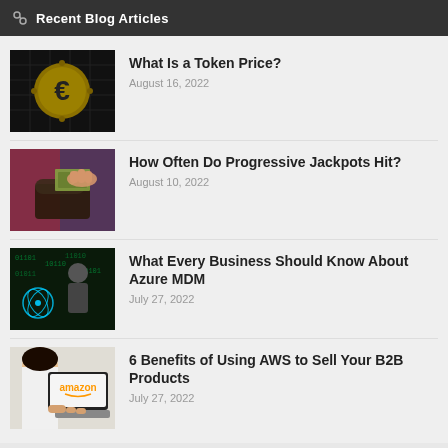Recent Blog Articles
What Is a Token Price? | August 16, 2022
How Often Do Progressive Jackpots Hit? | August 10, 2022
What Every Business Should Know About Azure MDM | July 27, 2022
6 Benefits of Using AWS to Sell Your B2B Products | July 27, 2022